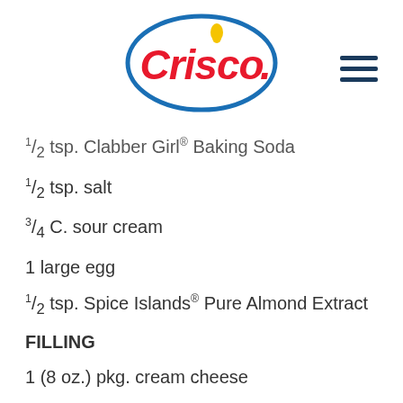[Figure (logo): Crisco brand logo: red script text 'Crisco' with a yellow flame dot on the i, inside a blue oval ellipse outline]
1/2 tsp. Clabber Girl® Baking Soda
1/2 tsp. salt
3/4 C. sour cream
1 large egg
1/2 tsp. Spice Islands® Pure Almond Extract
FILLING
1 (8 oz.) pkg. cream cheese
1/4 C. sugar